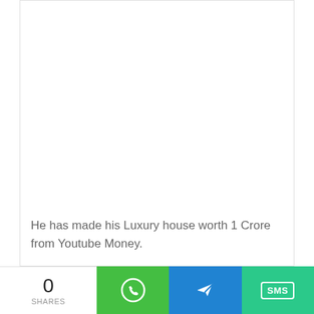He has made his Luxury house worth 1 Crore from Youtube Money.
0 SHARES | WhatsApp | Telegram | SMS